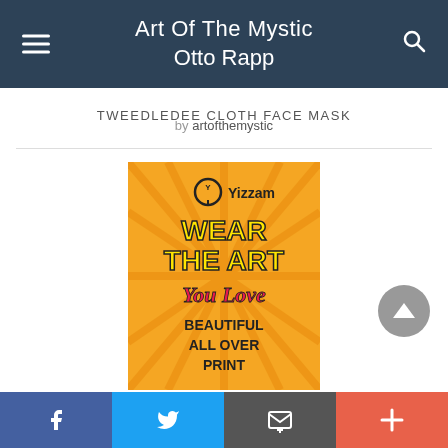Art Of The Mystic Otto Rapp
TWEEDLEDEE CLOTH FACE MASK
by artofthemystic
[Figure (photo): Yizzam promotional image with orange burst background, text: WEAR THE ART You Love BEAUTIFUL ALL OVER PRINT]
Facebook, Twitter, Email, Plus social share buttons